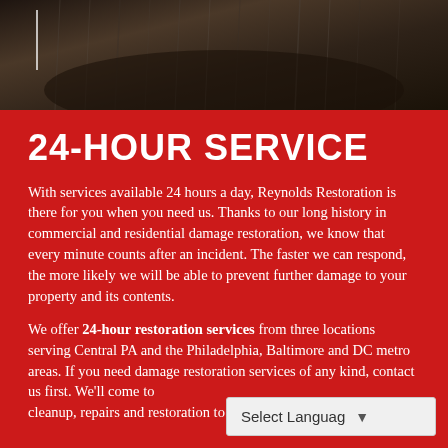[Figure (photo): Dark rainy background photo showing water/rain falling on a surface, dark brown and grey tones]
24-HOUR SERVICE
With services available 24 hours a day, Reynolds Restoration is there for you when you need us. Thanks to our long history in commercial and residential damage restoration, we know that every minute counts after an incident. The faster we can respond, the more likely we will be able to prevent further damage to your property and its contents.
We offer 24-hour restoration services from three locations serving Central PA and the Philadelphia, Baltimore and DC metro areas. If you need damage restoration services of any kind, contact us first. We'll come to cleanup, repairs and restoration to...